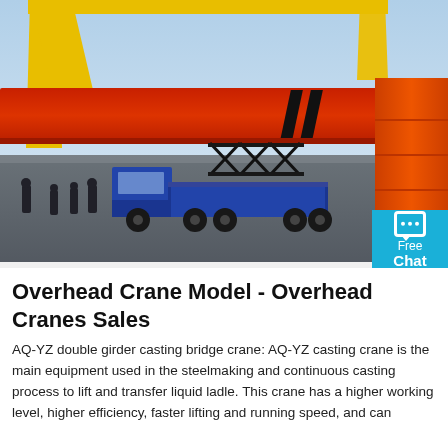[Figure (photo): Photograph of a yellow overhead bridge crane with a red/orange girder beam being transported on a blue flatbed truck in an outdoor industrial yard. Orange cylindrical components visible on the right side. Several workers standing nearby.]
Overhead Crane Model - Overhead Cranes Sales
AQ-YZ double girder casting bridge crane: AQ-YZ casting crane is the main equipment used in the steelmaking and continuous casting process to lift and transfer liquid ladle. This crane has a higher working level, higher efficiency, faster lifting and running speed, and can